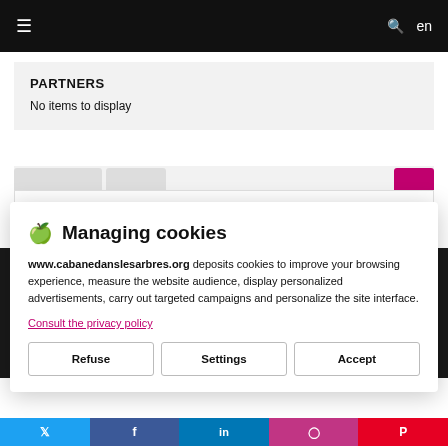≡   🔍 en
PARTNERS
No items to display
[Figure (screenshot): Partial view of a second content section with tab strip and pink tab, dark background strip with white letter 'A' and partial text lines, and social media bar (Twitter, Facebook, LinkedIn, Instagram, Pinterest)]
🍪 Managing cookies
www.cabanedanslesarbres.org deposits cookies to improve your browsing experience, measure the website audience, display personalized advertisements, carry out targeted campaigns and personalize the site interface.
Consult the privacy policy
Refuse   Settings   Accept